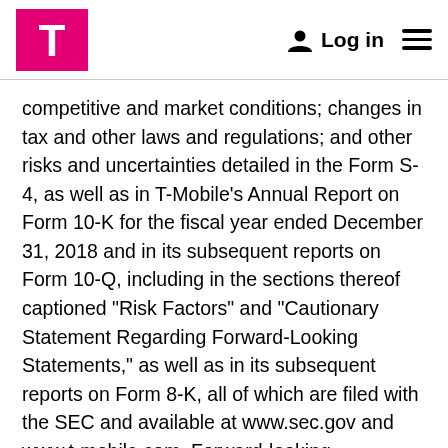T-Mobile logo, Log in, menu
competitive and market conditions; changes in tax and other laws and regulations; and other risks and uncertainties detailed in the Form S-4, as well as in T-Mobile’s Annual Report on Form 10-K for the fiscal year ended December 31, 2018 and in its subsequent reports on Form 10-Q, including in the sections thereof captioned “Risk Factors” and “Cautionary Statement Regarding Forward-Looking Statements,” as well as in its subsequent reports on Form 8-K, all of which are filed with the SEC and available at www.sec.gov and www.t-mobile.com. Forward-looking statements are based on current expectations and assumptions, which are subject to risks and uncertainties that may cause actual results to differ materially from those expressed in or implied by such forward-looking statements. The information contained